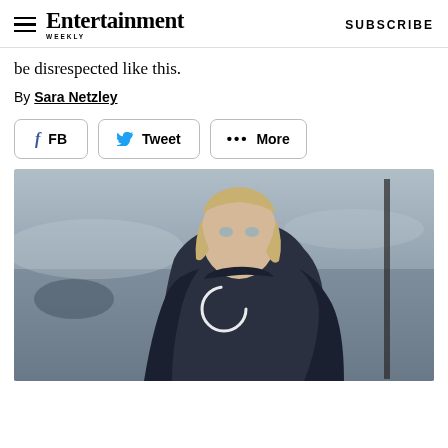Entertainment Weekly — SUBSCRIBE
be disrespected like this.
By Sara Netzley
[Figure (screenshot): Social sharing buttons: FB (Facebook), Tweet (Twitter), ••• More]
[Figure (photo): Photo of a woman (Daenerys Targaryen character from Game of Thrones) in dark armor with braided blonde hair, looking sideways against a grey misty background. A loading spinner circle is visible in the center of the image.]